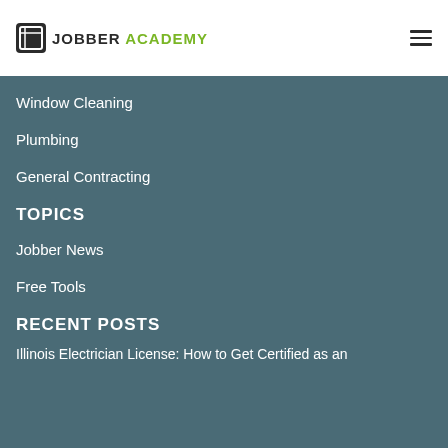JOBBER ACADEMY
Window Cleaning
Plumbing
General Contracting
TOPICS
Jobber News
Free Tools
RECENT POSTS
Illinois Electrician License: How to Get Certified as an